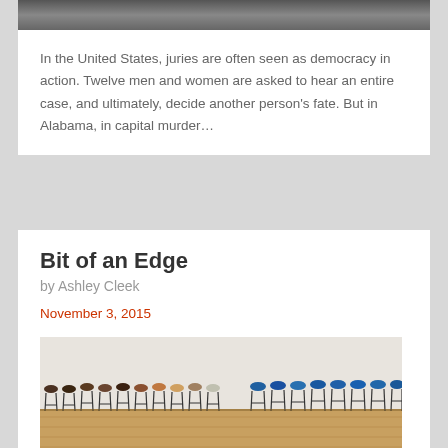[Figure (photo): Top portion of photo visible at top of page — appears to be a corridor or room with strong perspective lines]
In the United States, juries are often seen as democracy in action. Twelve men and women are asked to hear an entire case, and ultimately, decide another person's fate. But in Alabama, in capital murder...
Bit of an Edge
by Ashley Cleek
November 3, 2015
[Figure (photo): Row of colorful bar stools/chairs lined up in an art installation or gallery setting on a wooden floor]